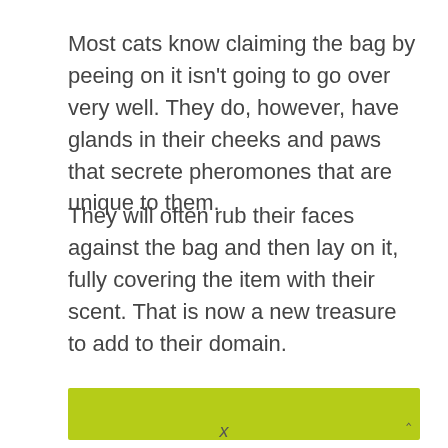Most cats know claiming the bag by peeing on it isn't going to go over very well. They do, however, have glands in their cheeks and paws that secrete pheromones that are unique to them.
They will often rub their faces against the bag and then lay on it, fully covering the item with their scent. That is now a new treasure to add to their domain.
[Figure (other): A lime-green/yellow-green horizontal bar, resembling a UI element or button bar, with a small upward-pointing arrow icon at the right side.]